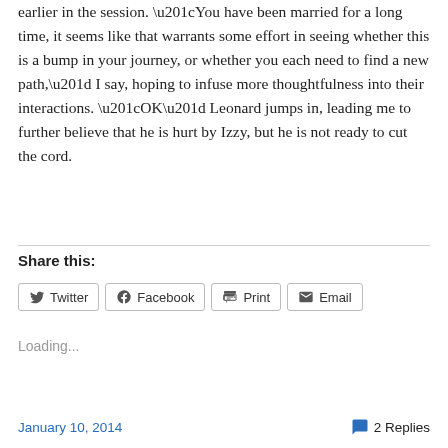earlier in the session. “You have been married for a long time, it seems like that warrants some effort in seeing whether this is a bump in your journey, or whether you each need to find a new path,” I say, hoping to infuse more thoughtfulness into their interactions. “OK” Leonard jumps in, leading me to further believe that he is hurt by Izzy, but he is not ready to cut the cord.
Share this:
Twitter | Facebook | Print | Email
Loading...
January 10, 2014    2 Replies